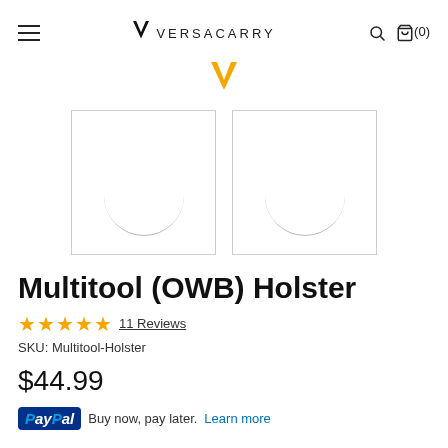≡ VERSACARRY 🔍 🛒(0)
[Figure (screenshot): Loading spinner icon (yellow V logo placeholder) centered in the upper image area]
[Figure (screenshot): Two product image thumbnail boxes with arc/semi-circle loading placeholders side by side]
Multitool (OWB) Holster
★★★★★ 11 Reviews
SKU: Multitool-Holster
$44.99
PayPal Buy now, pay later. Learn more